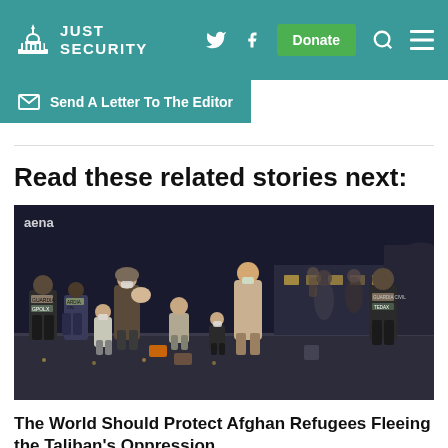JUST SECURITY
Send A Letter To The Editor
Read these related stories next:
[Figure (photo): Afghan refugees arriving at an airport tarmac at night, including families with children and adults wearing face masks, with law enforcement officers nearby.]
The World Should Protect Afghan Refugees Fleeing the Taliban's Oppression
by Ambassador M. Ashraf Haidari